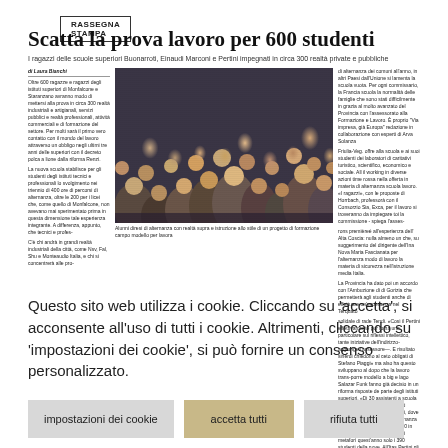RASSEGNA STAMPA
Scatta la prova lavoro per 600 studenti
I ragazzi delle scuole superiori Buonarroti, Einaudi Marconi e Pertini impegnati in circa 300 realtà private e pubbliche
[Figure (photo): Group of students seated in an auditorium or lecture hall, many looking forward, photographed from the front.]
Questo sito web utilizza i cookie. Cliccando su 'accetta', si acconsente all'uso di tutti i cookie. Altrimenti, cliccando su 'impostazioni dei cookie', si può fornire un consenso personalizzato.
impostazioni dei cookie
accetta tutti
rifiuta tutti
privacy e cookie policy